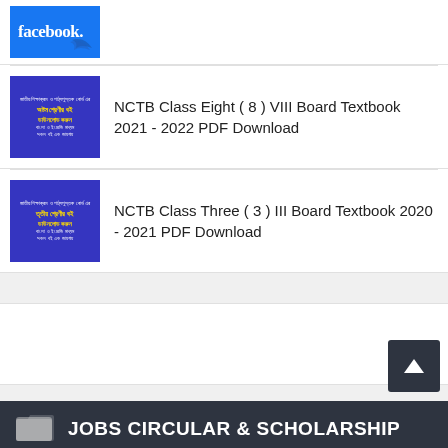[Figure (logo): Facebook logo thumbnail - blue background with facebook text in white]
NCTB Class Eight ( 8 ) VIII Board Textbook 2021 - 2022 PDF Download
NCTB Class Three ( 3 ) III Board Textbook 2020 - 2021 PDF Download
JOBS CIRCULAR & SCHOLARSHIP
Jobs Circulars
All Scholarships